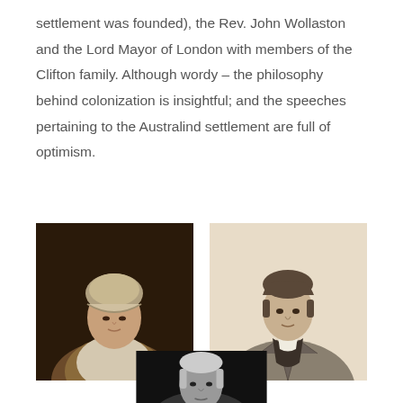settlement was founded), the Rev. John Wollaston and the Lord Mayor of London with members of the Clifton family. Although wordy – the philosophy behind colonization is insightful; and the speeches pertaining to the Australind settlement are full of optimism.
[Figure (photo): Oil painting portrait of an older woman wearing a white bonnet and shawl, painted in a classical style against a dark background.]
[Figure (photo): Engraving or sketch portrait of a young man in early 19th century attire with a high collar and coat, sepia/grey toned.]
[Figure (photo): Black and white photograph portrait, partially visible, showing a person's face and upper shoulders, cropped at bottom of page.]